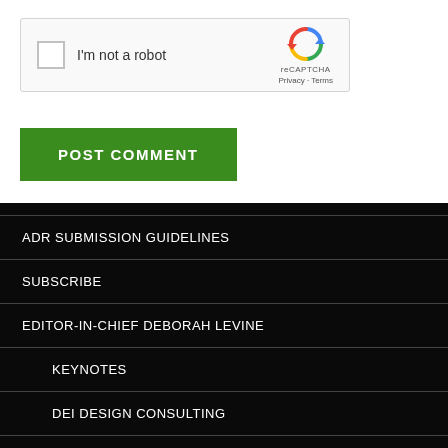[Figure (screenshot): reCAPTCHA widget with checkbox labeled 'I'm not a robot' and reCAPTCHA logo with Privacy and Terms links]
POST COMMENT
ADR SUBMISSION GUIDELINES
SUBSCRIBE
EDITOR-IN-CHIEF DEBORAH LEVINE
KEYNOTES
DEI DESIGN CONSULTING
CLIENTS AND TESTIMONIALS
AWARDS AND HONORS